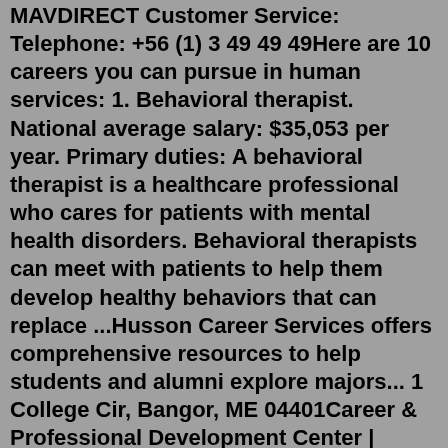MAVDIRECT Customer Service: Telephone: +56 (1) 3 49 49 49Here are 10 careers you can pursue in human services: 1. Behavioral therapist. National average salary: $35,053 per year. Primary duties: A behavioral therapist is a healthcare professional who cares for patients with mental health disorders. Behavioral therapists can meet with patients to help them develop healthy behaviors that can replace ...Husson Career Services offers comprehensive resources to help students and alumni explore majors... 1 College Cir, Bangor, ME 04401Career & Professional Development Center | Student Affairs 201 SOUTH 1460 EAST, SSB 350 SALT LAKE CITY, UT 84112 801-581-6186 Recruiters & Employers. Recruiters ... Career Services Office CEU Careers plays a leading role in institutional efforts to ensure that our graduates are prepared to transform their CEU experience into meaningful professional engagement. CEU Careers partners with students and alumni, offering guidance, support, and information to help them develop and pursue personal visions for